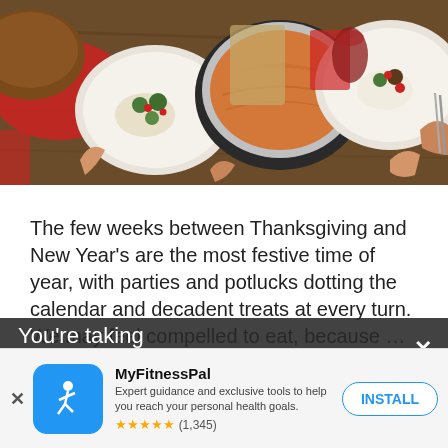[Figure (photo): Overhead view of a holiday dinner table with plates of food, a pumpkin pie, vegetables, red napkins, and hands reaching for food.]
The few weeks between Thanksgiving and New Year's are the most festive time of year, with parties and potlucks dotting the calendar and decadent treats at every turn. We may feel compelled to eat, because … 'tis the season! Because of surprising to find our pants fitting a b holidays progress
You're taking control of your
[Figure (screenshot): MyFitnessPal app advertisement banner with logo, description text, star rating of (1,345), and INSTALL button.]